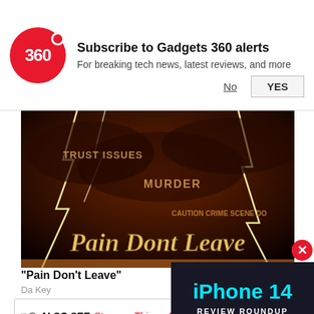[Figure (screenshot): Gadgets 360 notification banner with red logo circle showing '360', bold dot, text 'Subscribe to Gadgets 360 alerts / For breaking tech news, latest reviews, and more', with 'No' (underlined) and 'YES' buttons]
[Figure (photo): Album art for 'Pain Don't Leave' by Da Key — dark stormy sky with lightning bolts, text overlays reading 'TRUST ISSUES', 'MURDER', 'CAUTION CRIME SCENE DO', and large gothic script 'Pain Dont Leave']
“Pain Don’t Leave”
Da Key
ALSO SEE  Stranger Things 4
[Figure (screenshot): Video thumbnail overlay showing 'iPhone 14' in cyan text, 'REVIEW ROUNDUP' in white, with a red circular play button on dark background]
Previously, Stranger Things 4 had broken another Netflix record held by Bridgerton Season 2, when it